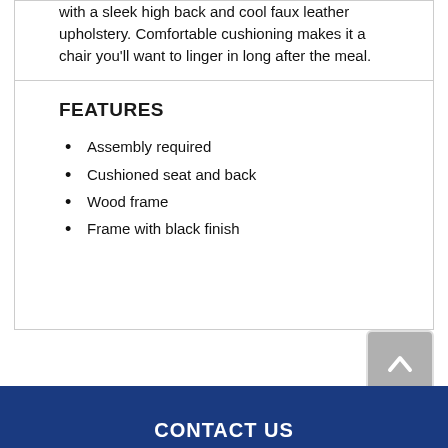with a sleek high back and cool faux leather upholstery. Comfortable cushioning makes it a chair you'll want to linger in long after the meal.
FEATURES
Assembly required
Cushioned seat and back
Wood frame
Frame with black finish
CONTACT US